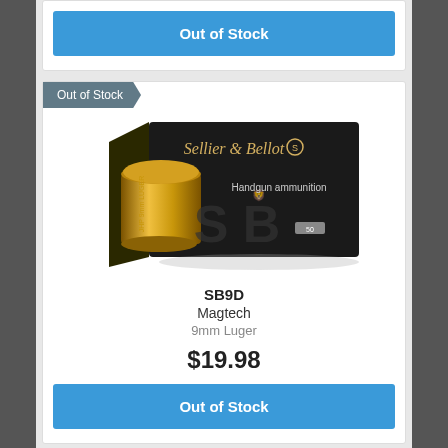[Figure (other): Out of Stock button from previous product card (partial, top of page)]
[Figure (photo): Sellier & Bellot handgun ammunition box (9mm Luger, SB9D) showing a black box with gold bullet and S&B logo branding]
Out of Stock
SB9D
Magtech
9mm Luger
$19.98
Out of Stock